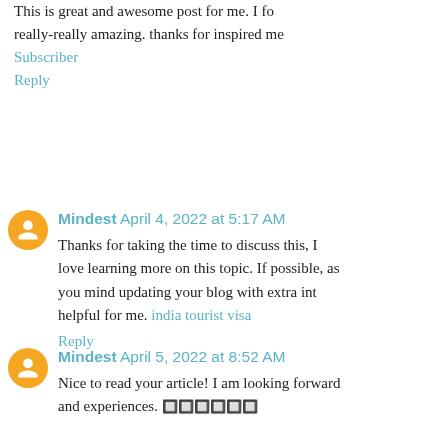This is great and awesome post for me. I to really-really amazing. thanks for inspired me
Subscriber
Reply
Mindest April 4, 2022 at 5:17 AM
Thanks for taking the time to discuss this, I love learning more on this topic. If possible, as you mind updating your blog with extra int helpful for me. india tourist visa
Reply
Mindest April 5, 2022 at 8:52 AM
Nice to read your article! I am looking forward and experiences. 🔲🔲🔲🔲🔲🔲